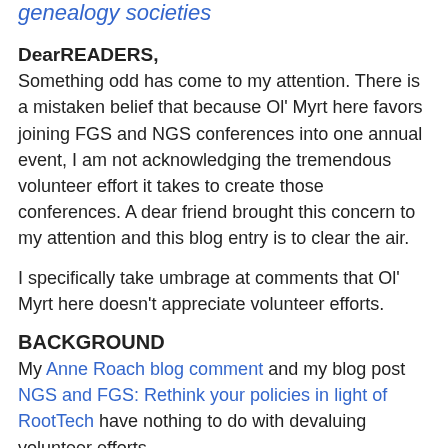genealogy societies
DearREADERS,
Something odd has come to my attention. There is a mistaken belief that because Ol' Myrt here favors joining FGS and NGS conferences into one annual event, I am not acknowledging the tremendous volunteer effort it takes to create those conferences. A dear friend brought this concern to my attention and this blog entry is to clear the air.
I specifically take umbrage at comments that Ol' Myrt here doesn't appreciate volunteer efforts.
BACKGROUND
My Anne Roach blog comment and my blog post NGS and FGS: Rethink your policies in light of RootTech have nothing to do with devaluing volunteer efforts.
The idea that I "don't understand how hard volunteers work" seems odd. Having served as VP of UGA (the NGS 2010 local conference society) and as NGS 2010 Vendor chair, it might  just be that I know a bit about how hard those dear,